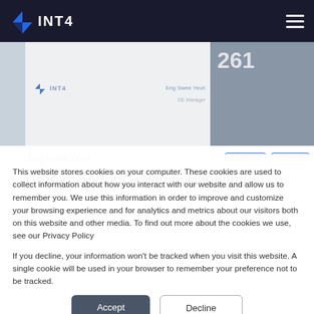INT4
[Figure (screenshot): Website screenshot showing INT4 blog card with author Eng Swee Yeoh, tags GROOVY and SAP CPI, partially visible article title about Groovy Scripts Native Handling]
Eng Swee Yeoh
GROOVY   SAP CPI
Groovy Scripts – Native Handling of
This website stores cookies on your computer. These cookies are used to collect information about how you interact with our website and allow us to remember you. We use this information in order to improve and customize your browsing experience and for analytics and metrics about our visitors both on this website and other media. To find out more about the cookies we use, see our Privacy Policy

If you decline, your information won't be tracked when you visit this website. A single cookie will be used in your browser to remember your preference not to be tracked.
Accept
Decline